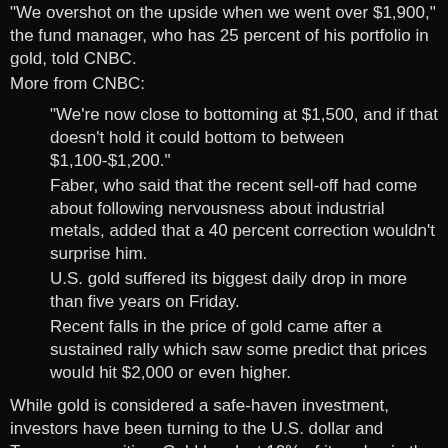"We overshot on the upside when we went over $1,900," the fund manager, who has 25 percent of his portfolio in gold, told CNBC.
More from CNBC:
"We're now close to bottoming at $1,500, and if that doesn't hold it could bottom to between $1,100-$1,200."
Faber, who said that the recent sell-off had come about following nervousness about industrial metals, added that a 40 percent correction wouldn't surprise him.
U.S. gold suffered its biggest daily drop in more than five years on Friday.
Recent falls in the price of gold came after a sustained rally which saw some predict that prices would hit $2,000 or even higher.
While gold is considered a safe-haven investment, investors have been turning to the U.S. dollar and Treasury securities. Gold has lost 10% of its value in the past month. Fund manager and market bear Marc Faber tells CNBC prices are